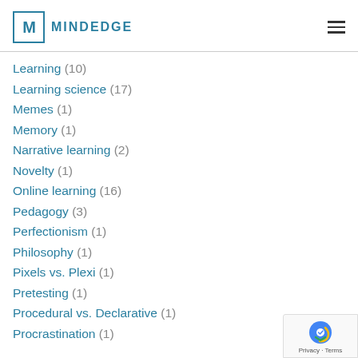MINDEDGE
Learning (10)
Learning science (17)
Memes (1)
Memory (1)
Narrative learning (2)
Novelty (1)
Online learning (16)
Pedagogy (3)
Perfectionism (1)
Philosophy (1)
Pixels vs. Plexi (1)
Pretesting (1)
Procedural vs. Declarative (1)
Procrastination (1)